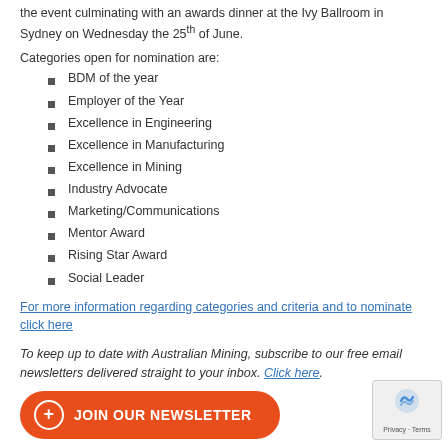the event culminating with an awards dinner at the Ivy Ballroom in Sydney on Wednesday the 25th of June.
Categories open for nomination are:
BDM of the year
Employer of the Year
Excellence in Engineering
Excellence in Manufacturing
Excellence in Mining
Industry Advocate
Marketing/Communications
Mentor Award
Rising Star Award
Social Leader
For more information regarding categories and criteria and to nominate click here
To keep up to date with Australian Mining, subscribe to our free email newsletters delivered straight to your inbox. Click here.